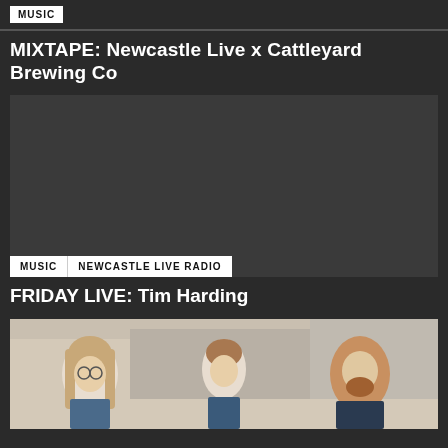MUSIC
MIXTAPE: Newcastle Live x Cattleyard Brewing Co
[Figure (photo): Dark placeholder image for the mixtape article with tags MUSIC and NEWCASTLE LIVE RADIO at the bottom]
FRIDAY LIVE: Tim Harding
[Figure (photo): Photo of a band with three people with long hair standing outdoors]